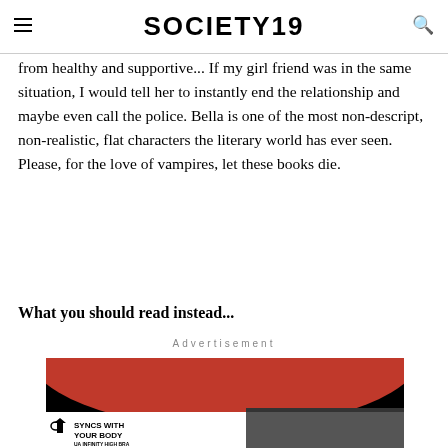SOCIETY19
from healthy and supportive... If my girl friend was in the same situation, I would tell her to instantly end the relationship and maybe even call the police. Bella is one of the most non-descript, non-realistic, flat characters the literary world has ever seen. Please, for the love of vampires, let these books die.
What you should read instead...
Advertisement
[Figure (photo): Under Armour advertisement banner with red arc design and text 'SYNCS WITH YOUR BODY - UA INFINITY HIGH BRA' with an image of a woman working out]